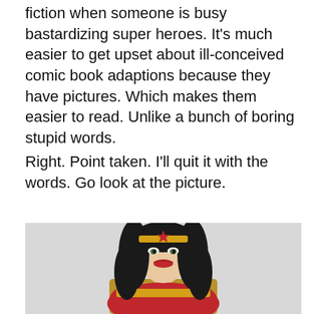fiction when someone is busy bastardizing super heroes. It's much easier to get upset about ill-conceived comic book adaptions because they have pictures. Which makes them easier to read. Unlike a bunch of boring stupid words.
Right. Point taken. I'll quit it with the words. Go look at the picture.
[Figure (photo): A woman dressed as Wonder Woman, wearing a gold tiara with a red star, dark curly hair, red lipstick, and a red and gold superhero costume, photographed against a light grey background.]